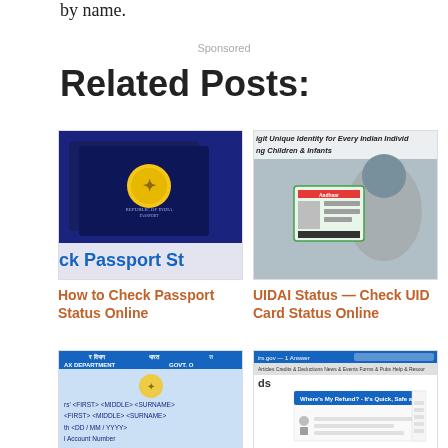by name.
Sponsored
Related Posts:
[Figure (photo): Indian passports stacked, with text overlay 'ck Passport St']
How to Check Passport Status Online
[Figure (photo): Child holding Aadhaar card, with text overlay about 12 Digit Unique Identity for Every Indian Individual including Children & Infants]
UIDAI Status — Check UID Card Status Online
[Figure (photo): PAN card image with fields for name, date of birth, account number, TAX DEPARTMENT, GOVT. O]
[Figure (screenshot): IRS website screenshot showing 'Where's My Refund' tool]